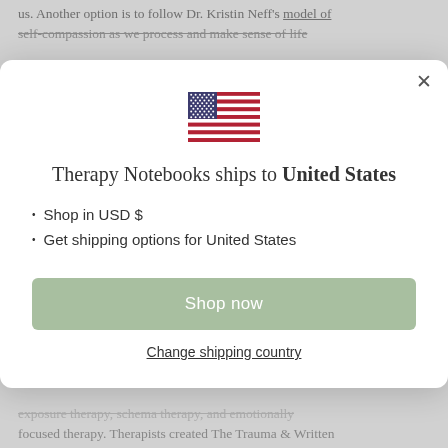us. Another option is to follow Dr. Kristin Neff's model of self-compassion as we process and make sense of life
[Figure (screenshot): A modal dialog showing a US flag emoji, text 'Therapy Notebooks ships to United States', bullet points for USD and shipping options, a 'Shop now' button, and a 'Change shipping country' link. Has a close (×) button in the top right.]
exposure therapy, schema therapy, and emotionally focused therapy. Therapists created The Trauma & Written